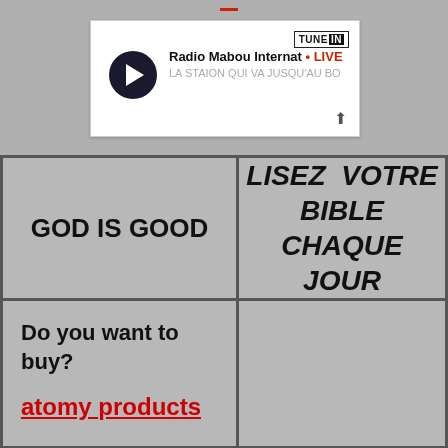[Figure (screenshot): TuneIn radio player card showing Radio Mabou International with LIVE badge and play button]
GOD IS GOOD
LISEZ VOTRE BIBLE CHAQUE JOUR
Do you want to buy?
atomy products